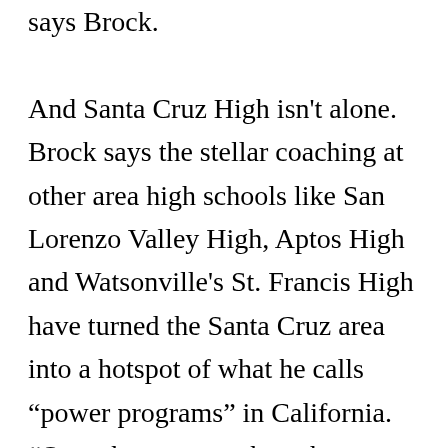says Brock. And Santa Cruz High isn't alone. Brock says the stellar coaching at other area high schools like San Lorenzo Valley High, Aptos High and Watsonville's St. Francis High have turned the Santa Cruz area into a hotspot of what he calls “power programs” in California. “Over the years we have become a very strong league,” he says